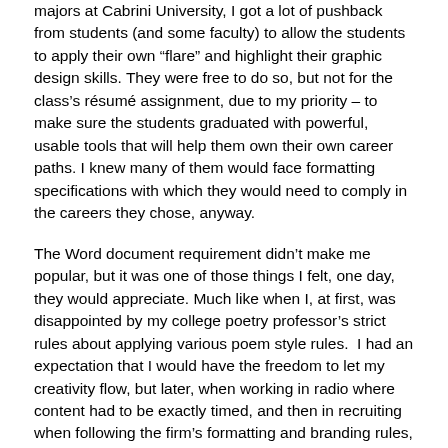majors at Cabrini University, I got a lot of pushback from students (and some faculty) to allow the students to apply their own “flare” and highlight their graphic design skills. They were free to do so, but not for the class’s résumé assignment, due to my priority – to make sure the students graduated with powerful, usable tools that will help them own their own career paths. I knew many of them would face formatting specifications with which they would need to comply in the careers they chose, anyway.
The Word document requirement didn’t make me popular, but it was one of those things I felt, one day, they would appreciate. Much like when I, at first, was disappointed by my college poetry professor’s strict rules about applying various poem style rules.  I had an expectation that I would have the freedom to let my creativity flow, but later, when working in radio where content had to be exactly timed, and then in recruiting when following the firm’s formatting and branding rules, I realized that it was actually an enjoyable (though sometimes frustrating) creative challenge to find the best way to convey something when there are character limits – like a word game. I invited my